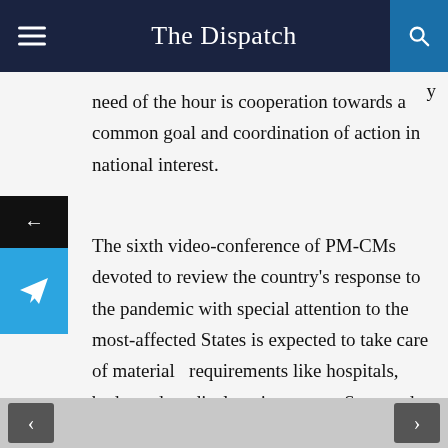The Dispatch
need of the hour is cooperation towards a common goal and coordination of action in national interest.
The sixth video-conference of PM-CMs devoted to review the country's response to the pandemic with special attention to the most-affected States is expected to take care of material   requirements like hospitals, beds, and medical equipments at State and district levels.